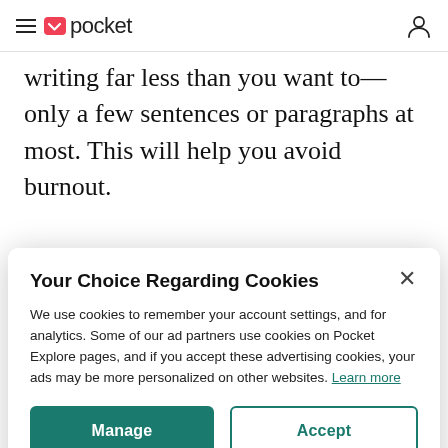pocket
writing far less than you want to—only a few sentences or paragraphs at most. This will help you avoid burnout.
Your Choice Regarding Cookies
We use cookies to remember your account settings, and for analytics. Some of our ad partners use cookies on Pocket Explore pages, and if you accept these advertising cookies, your ads may be more personalized on other websites. Learn more
Manage
Accept